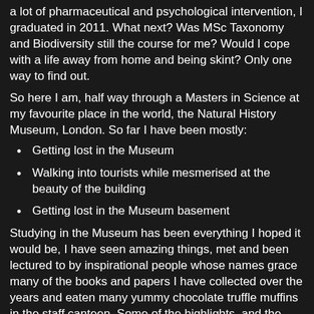a lot of pharmaceutical and psychological intervention, I graduated in 2011. What next? Was MSc Taxonomy and Biodiversity still the course for me? Would I cope with a life away from home and being skint? Only one way to find out.
So here I am, half way through a Masters in Science at my favourite place in the world, the Natural History Museum, London. So far I have been mostly:
Getting lost in the Museum
Walking into tourists while mesmerised at the beauty of the building
Getting lost in the Museum basement
Studying in the Museum has been everything I hoped it would be, I have seen amazing things, met and been lectured to by inspirational people whose names grace many of the books and papers I have collected over the years and eaten many yummy chocolate truffle muffins in the staff canteen. Some of the highlights, and the little things that have made it special so far:
Identifying and labeling Cambrian priapulid worms